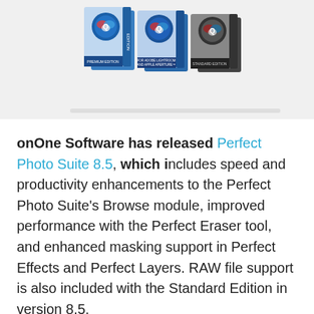[Figure (photo): Product box images for Perfect Photo Suite 8.5 showing multiple editions including Premium Edition and Standard Edition boxes with colorful artistic covers]
onOne Software has released Perfect Photo Suite 8.5, which includes speed and productivity enhancements to the Perfect Photo Suite's Browse module, improved performance with the Perfect Eraser tool, and enhanced masking support in Perfect Effects and Perfect Layers. RAW file support is also included with the Standard Edition in version 8.5.
Perfect Photo Suite 8.5 has grown into a full-featured photo editor, which works as a plug-in with Adobe Photoshop, Adobe Photoshop Lightroom, and Apple Aperture, as well as a standalone app.